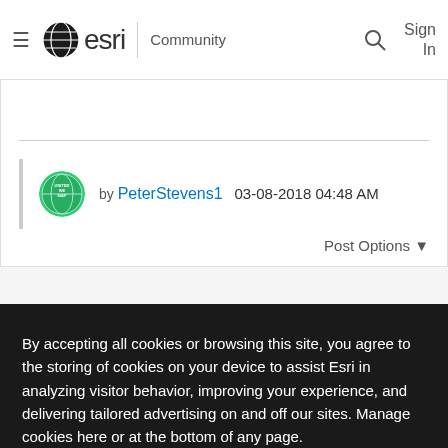esri Community
by PeterStevens1  03-08-2018 04:48 AM
Post Options ▼
By accepting all cookies or browsing this site, you agree to the storing of cookies on your device to assist Esri in analyzing visitor behavior, improving your experience, and delivering tailored advertising on and off our sites. Manage cookies here or at the bottom of any page.
Accept All Cookies